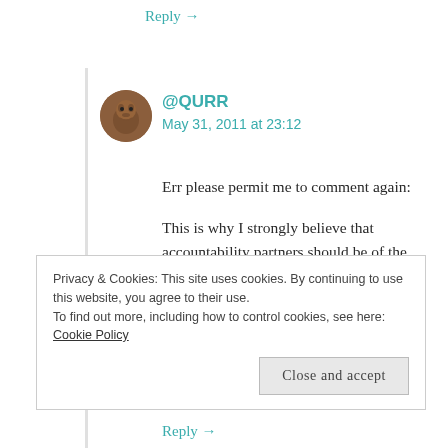Reply →
@QURR
May 31, 2011 at 23:12
Err please permit me to comment again:
This is why I strongly believe that accountability partners should be of the same sex, probably a mature sensible friend around your age (who won't end up spilling the guts during a twitfight - ___- ) . I see NO REASON why a girl should tell of
Privacy & Cookies: This site uses cookies. By continuing to use this website, you agree to their use.
To find out more, including how to control cookies, see here: Cookie Policy
Close and accept
Reply →